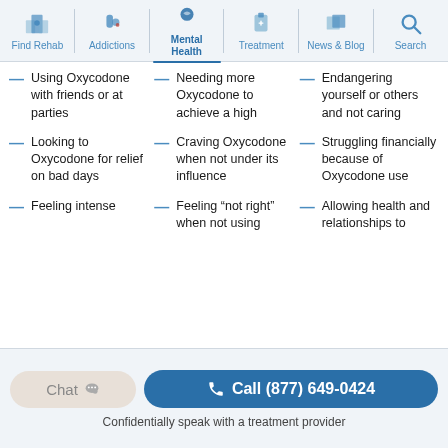Find Rehab | Addictions | Mental Health | Treatment | News & Blog | Search
Using Oxycodone with friends or at parties
Needing more Oxycodone to achieve a high
Endangering yourself or others and not caring
Looking to Oxycodone for relief on bad days
Craving Oxycodone when not under its influence
Struggling financially because of Oxycodone use
Feeling intense
Feeling “not right” when not using
Allowing health and relationships to
Chat
☎ Call (877) 649-0424
Confidentially speak with a treatment provider